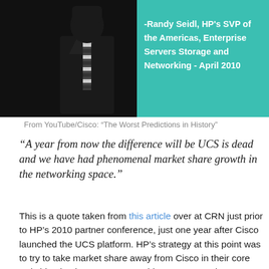[Figure (photo): A composite image showing a person in a dark suit on the left half (black background), and a teal/green right half with text reading '-Randy Seidl, HP's SVP of the Americas, Enterprise Servers Storage and Networking - April 2010']
From YouTube/Cisco: “The Worst Predictions in History”
“A year from now the difference will be UCS is dead and we have had phenomenal market share growth in the networking space.”
This is a quote taken from this article over at CRN just prior to HP’s 2010 partner conference, just one year after Cisco launched the UCS platform. HP’s strategy at this point was to try to take market share away from Cisco in their core switching business. I suppose this was a natural response considering Cisco’s foray into enterprise servers was aimed to strike a blow at the heart of HP’s business. HP’s strategy aimed to empower their partners to offer